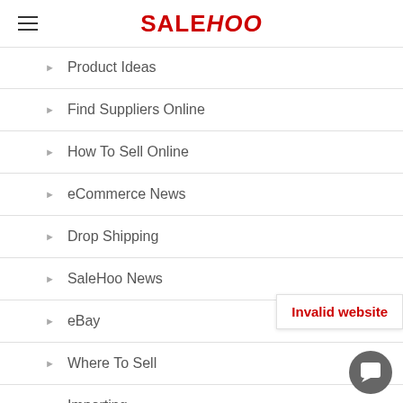SALEHOO
Product Ideas
Find Suppliers Online
How To Sell Online
eCommerce News
Drop Shipping
SaleHoo News
eBay
Where To Sell
Importing
Productivity
Invalid website